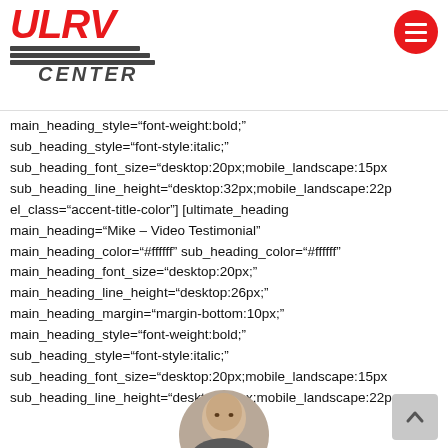[Figure (logo): ULRV Center logo with red block letters and gray striped banner with CENTER text]
main_heading_style="font-weight:bold;" sub_heading_style="font-style:italic;" sub_heading_font_size="desktop:20px;mobile_landscape:15px sub_heading_line_height="desktop:32px;mobile_landscape:22p el_class="accent-title-color"] [ultimate_heading main_heading="Mike – Video Testimonial" main_heading_color="#ffffff" sub_heading_color="#ffffff" main_heading_font_size="desktop:20px;" main_heading_line_height="desktop:26px;" main_heading_margin="margin-bottom:10px;" main_heading_style="font-weight:bold;" sub_heading_style="font-style:italic;" sub_heading_font_size="desktop:20px;mobile_landscape:15px sub_heading_line_height="desktop:32px;mobile_landscape:22p el_class="accent-title-color"]
[Figure (photo): Circular cropped photo of a bald man at the bottom center of the page]